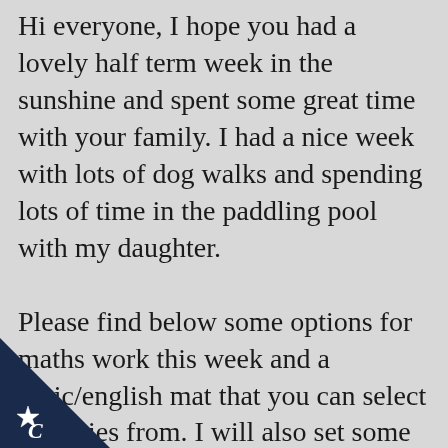Hi everyone, I hope you had a lovely half term week in the sunshine and spent some great time with your family. I had a nice week with lots of dog walks and spending lots of time in the paddling pool with my daughter.

Please find below some options for maths work this week and a topic/english mat that you can select activities from. I will also set some learning on purple mash as I know some of you like it. Please remember that these are all OPTIONS. Do what works for you as a family and remember that
[Figure (illustration): Dark navy/blue triangular corner decoration in the bottom-left with a white star/badge icon and the letter C]